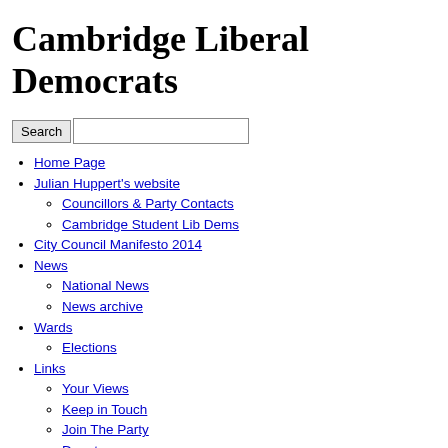Cambridge Liberal Democrats
Home Page
Julian Huppert's website
Councillors & Party Contacts
Cambridge Student Lib Dems
City Council Manifesto 2014
News
National News
News archive
Wards
Elections
Links
Your Views
Keep in Touch
Join The Party
Donate